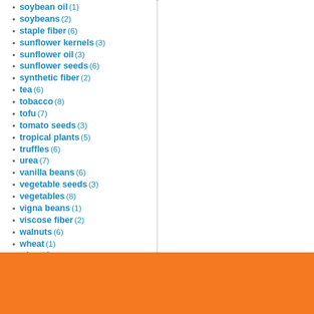soybean oil (1)
soybeans (2)
staple fiber (6)
sunflower kernels (3)
sunflower oil (3)
sunflower seeds (6)
synthetic fiber (2)
tea (6)
tobacco (8)
tofu (7)
tomato seeds (3)
tropical plants (5)
truffles (6)
urea (7)
vanilla beans (6)
vegetable seeds (3)
vegetables (8)
vigna beans (1)
viscose fiber (2)
walnuts (6)
wheat (1)
wheat bran (5)
whey powder (2)
white corn (7)
wild mushrooms (1)
wool fiber (3)
yellow corn (7)
yogurt (7)
young coconuts (7)
Charlotte (6)